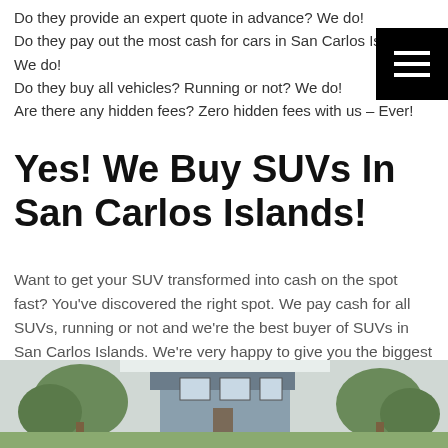Do they provide an expert quote in advance? We do! Do they pay out the most cash for cars in San Carlos Islands? We do! Do they buy all vehicles? Running or not? We do! Are there any hidden fees? Zero hidden fees with us – Ever!
Yes! We Buy SUVs In San Carlos Islands!
Want to get your SUV transformed into cash on the spot fast? You've discovered the right spot. We pay cash for all SUVs, running or not and we're the best buyer of SUVs in San Carlos Islands. We're very happy to give you the biggest payout on your Toyota RAV4, Honda CR-V, Ford Escape, BMW X3, and more, used, or junk. Our notable service is absolutely unbeatable. You will get a quick, no-obligation professional quote, effective service and peace of mind with just one quick call.
[Figure (photo): Exterior photo of a house with trees and blue siding, partially visible at the bottom of the page.]